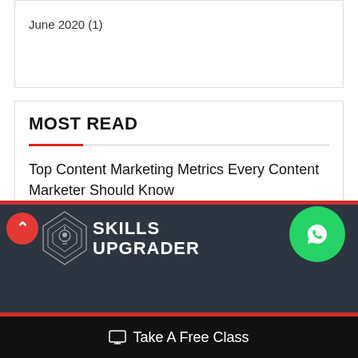June 2020 (1)
MOST READ
Top Content Marketing Metrics Every Content Marketer Should Know
July 11, 2022
[Figure (logo): Skills Upgrader logo with diamond icon and white text on dark background]
Take A Free Class